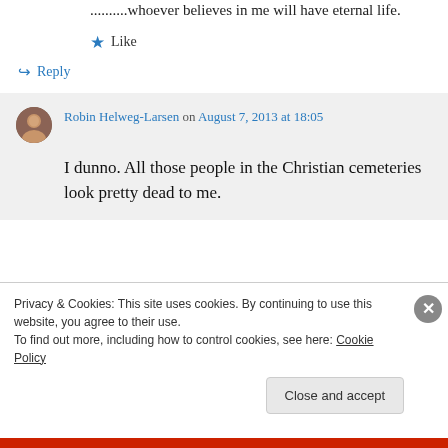..........whoever believes in me will have eternal life.
★ Like
↳ Reply
Robin Helweg-Larsen on August 7, 2013 at 18:05
I dunno. All those people in the Christian cemeteries look pretty dead to me.
Privacy & Cookies: This site uses cookies. By continuing to use this website, you agree to their use.
To find out more, including how to control cookies, see here: Cookie Policy
Close and accept